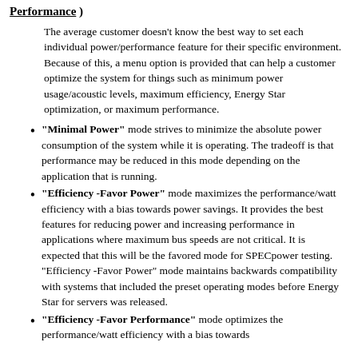Performance )
The average customer doesn't know the best way to set each individual power/performance feature for their specific environment. Because of this, a menu option is provided that can help a customer optimize the system for things such as minimum power usage/acoustic levels, maximum efficiency, Energy Star optimization, or maximum performance.
"Minimal Power" mode strives to minimize the absolute power consumption of the system while it is operating. The tradeoff is that performance may be reduced in this mode depending on the application that is running.
"Efficiency -Favor Power" mode maximizes the performance/watt efficiency with a bias towards power savings. It provides the best features for reducing power and increasing performance in applications where maximum bus speeds are not critical. It is expected that this will be the favored mode for SPECpower testing. "Efficiency -Favor Power" mode maintains backwards compatibility with systems that included the preset operating modes before Energy Star for servers was released.
"Efficiency -Favor Performance" mode optimizes the performance/watt efficiency with a bias towards